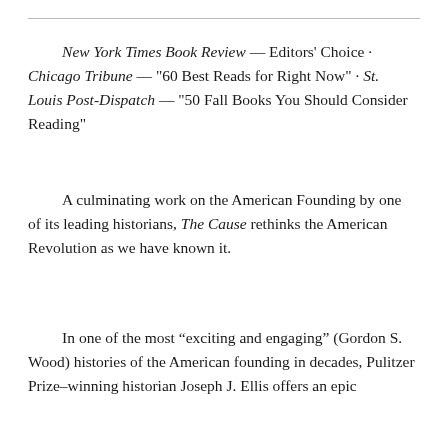New York Times Book Review — Editors' Choice · Chicago Tribune — "60 Best Reads for Right Now" · St. Louis Post-Dispatch — "50 Fall Books You Should Consider Reading"
A culminating work on the American Founding by one of its leading historians, The Cause rethinks the American Revolution as we have known it.
In one of the most “exciting and engaging” (Gordon S. Wood) histories of the American founding in decades, Pulitzer Prize–winning historian Joseph J. Ellis offers an epic